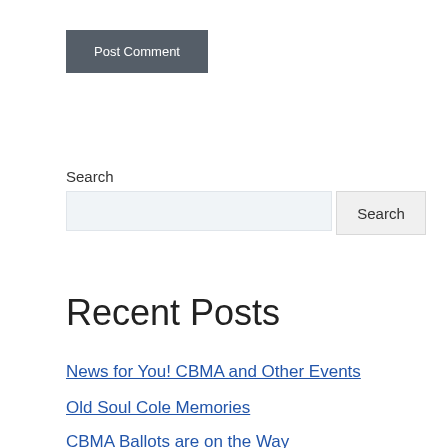Post Comment
Search
Recent Posts
News for You! CBMA and Other Events
Old Soul Cole Memories
CBMA Ballots are on the Way